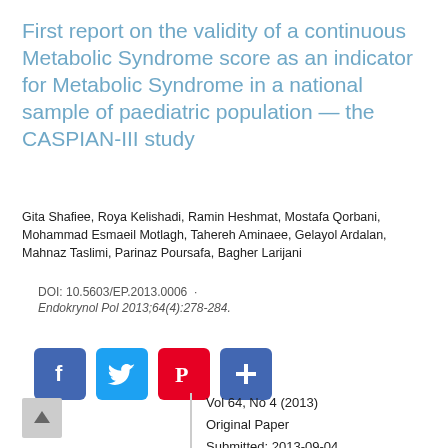First report on the validity of a continuous Metabolic Syndrome score as an indicator for Metabolic Syndrome in a national sample of paediatric population — the CASPIAN-III study
Gita Shafiee, Roya Kelishadi, Ramin Heshmat, Mostafa Qorbani, Mohammad Esmaeil Motlagh, Tahereh Aminaee, Gelayol Ardalan, Mahnaz Taslimi, Parinaz Poursafa, Bagher Larijani
DOI: 10.5603/EP.2013.0006  ·
Endokrynol Pol 2013;64(4):278-284.
[Figure (other): Social media sharing buttons: Facebook (blue), Twitter (light blue), Pinterest (red), Share/Plus (blue)]
Vol 64, No 4 (2013)
Original Paper
Submitted: 2013-09-04
Accepted: 2013-09-04